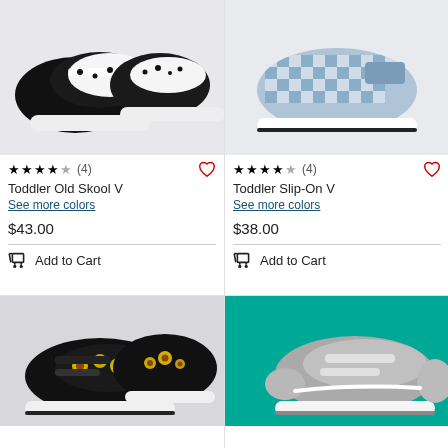[Figure (photo): Toddler Old Skool V sneaker in black and white dalmatian print pattern]
★★★★½ (4)
Toddler Old Skool V
See more colors
$43.00
Add to Cart
[Figure (photo): Toddler Slip-On V sneaker in blue and white checkerboard pattern]
★★★★☆ (4)
Toddler Slip-On V
See more colors
$38.00
Add to Cart
[Figure (photo): Toddler Old Skool V sneaker in black with sunflower print pattern]
[Figure (photo): Toddler Old Skool V sneaker in grey on teal background]